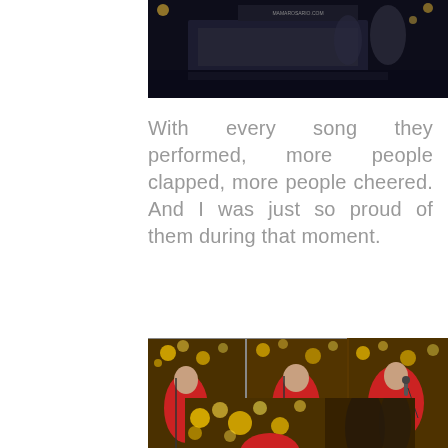[Figure (photo): Dark concert stage photo with screen and performers visible at top]
With every song they performed, more people clapped, more people cheered. And I was just so proud of them during that moment.
[Figure (photo): Triptych of three musicians in red shirts performing on stage with Christmas tree lights in background]
[Figure (photo): Bottom partial photo of performers with golden Christmas tree bokeh lights]